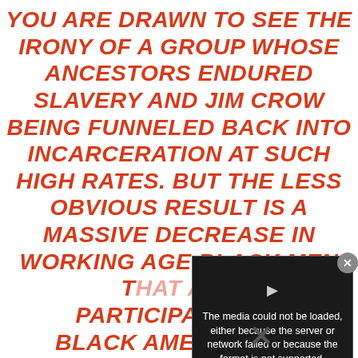YOU ARE DRAWN TO SEE THE IRONY OF A GROUP WHOSE ANCESTORS ENDURED SLAVERY AND JIM CROW BEING FUNNELED BACK INTO INCARCERATION AT SUCH HIGH RATES. BUT THE LESS OBVIOUS RESULT IS A MASSIVE DECREASE IN WORKING AGE BLACK MEN THAT ARE PARTICIPATING IN BLACK AMERICA. WE HAVE A THIRD OF BLACK MEN GO TO JAIL AT SOME POINT IN THEIR LIFE. THIS ABSENCE HAS RESULTED IN AN EPIDEMIC OF BROKEN HOMES AND FAR TOO MANY BLACK
[Figure (screenshot): Video player overlay showing error message: 'The media could not be loaded, either because the server or network failed or because the format is not supported.' with a close button and an X mark visible.]